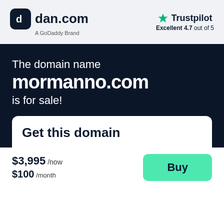[Figure (logo): dan.com logo - dark rounded square icon with 'd' letter and 'dan.com' text, with 'A GoDaddy Brand' subtitle]
[Figure (logo): Trustpilot logo with green star and 'Excellent 4.7 out of 5' rating]
The domain name
mormanno.com
is for sale!
Get this domain
$3,995 /now $100 /month
Buy